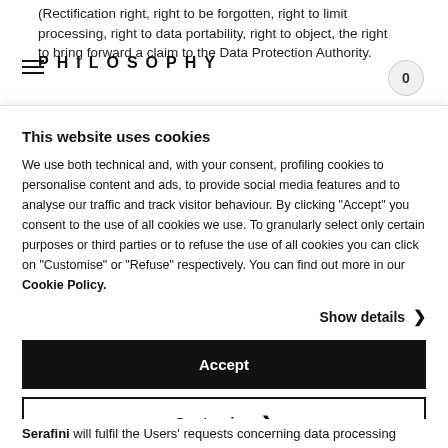(Rectification right, right to be forgotten, right to limit processing, right to data portability, right to object, the right to bring forward a claim to the Data Protection Authority.
PHILOSOPHY
0
This website uses cookies
We use both technical and, with your consent, profiling cookies to personalise content and ads, to provide social media features and to analyse our traffic and track visitor behaviour. By clicking "Accept" you consent to the use of all cookies we use. To granularly select only certain purposes or third parties or to refuse the use of all cookies you can click on "Customise" or "Refuse" respectively. You can find out more in our Cookie Policy.
Show details >
Accept
Customize >
Chiudi e prosegui (solo necessari)
Serafini will fulfil the Users' requests concerning data processing